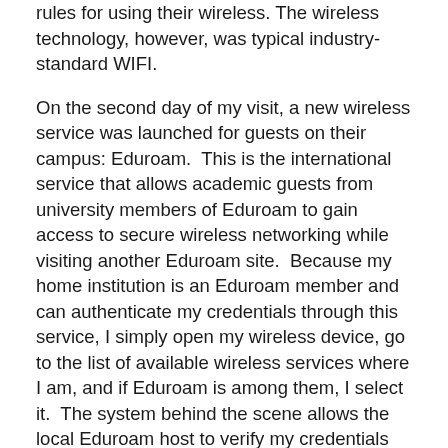rules for using their wireless. The wireless technology, however, was typical industry-standard WIFI.
On the second day of my visit, a new wireless service was launched for guests on their campus: Eduroam.  This is the international service that allows academic guests from university members of Eduroam to gain access to secure wireless networking while visiting another Eduroam site.  Because my home institution is an Eduroam member and can authenticate my credentials through this service, I simply open my wireless device, go to the list of available wireless services where I am, and if Eduroam is among them, I select it.  The system behind the scene allows the local Eduroam host to verify my credentials with my home institution and to provide me with selective network services on their campus.  For example, if the Library has a license for a database that does not allow guests